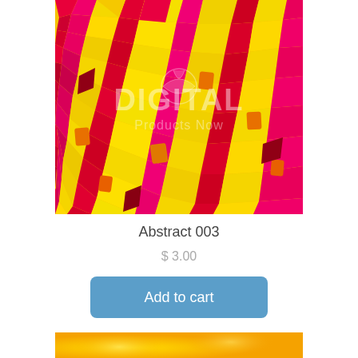[Figure (illustration): Abstract mosaic art product image with colorful hexagonal/irregular tile pattern in yellow, red, magenta, and orange colors, with a watermark reading 'DIGITAL Products Now']
Abstract 003
$ 3.00
Add to cart
[Figure (illustration): Bottom portion of another abstract product image, showing warm yellow/orange bokeh or gradient tones, partially visible]